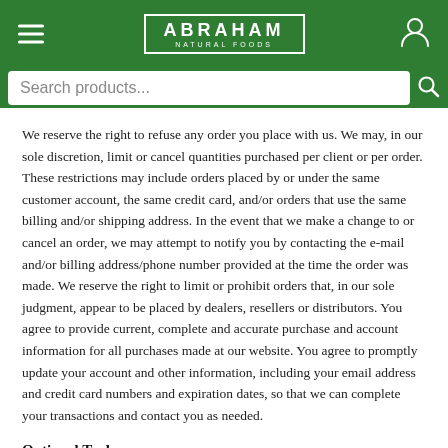[Figure (screenshot): Green navigation header with hamburger menu icon on left, Abraham Natural Foods logo in center with rectangular border, and user/account icon on right. Below is a white search bar with 'Search products...' placeholder text and a search icon.]
We reserve the right to refuse any order you place with us. We may, in our sole discretion, limit or cancel quantities purchased per client or per order. These restrictions may include orders placed by or under the same customer account, the same credit card, and/or orders that use the same billing and/or shipping address. In the event that we make a change to or cancel an order, we may attempt to notify you by contacting the e-mail and/or billing address/phone number provided at the time the order was made. We reserve the right to limit or prohibit orders that, in our sole judgment, appear to be placed by dealers, resellers or distributors. You agree to provide current, complete and accurate purchase and account information for all purchases made at our website. You agree to promptly update your account and other information, including your email address and credit card numbers and expiration dates, so that we can complete your transactions and contact you as needed.
Optional Tools
We may provide you with access to third-party tools over which we